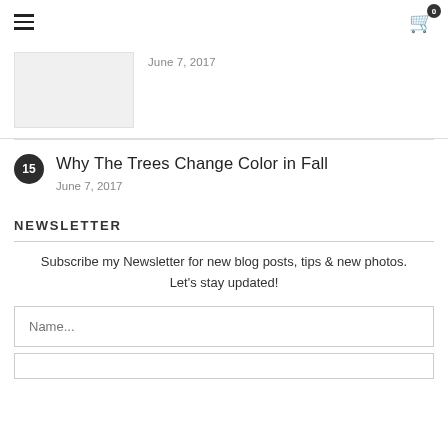Navigation header with hamburger menu and cart icon (badge: 0)
June 7, 2017
Why The Trees Change Color in Fall
June 7, 2017
NEWSLETTER
Subscribe my Newsletter for new blog posts, tips & new photos. Let's stay updated!
Name...